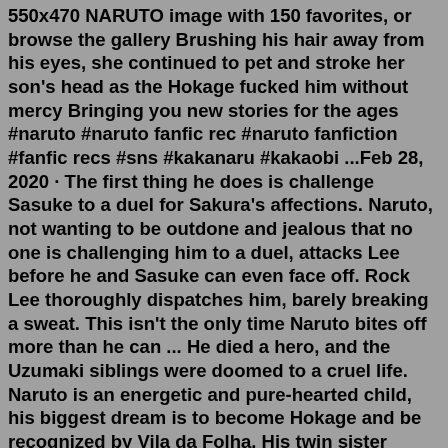550x470 NARUTO image with 150 favorites, or browse the gallery Brushing his hair away from his eyes, she continued to pet and stroke her son's head as the Hokage fucked him without mercy Bringing you new stories for the ages #naruto #naruto fanfic rec #naruto fanfiction #fanfic recs #sns #kakanaru #kakaobi ...Feb 28, 2020 · The first thing he does is challenge Sasuke to a duel for Sakura's affections. Naruto, not wanting to be outdone and jealous that no one is challenging him to a duel, attacks Lee before he and Sasuke can even face off. Rock Lee thoroughly dispatches him, barely breaking a sweat. This isn't the only time Naruto bites off more than he can ... He died a hero, and the Uzumaki siblings were doomed to a cruel life. Naruto is an energetic and pure-hearted child, his biggest dream is to become Hokage and be recognized by Vila da Folha. His twin sister Narumi sees the cruel side of the world, she has no desire to be a Kunoichi and just wants to live peacefully. Like most fanfic writers I just took some aspects from Naruto and Kushina's characters and shaped the